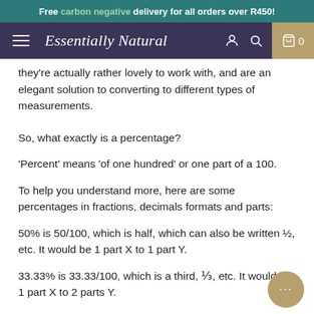Free carbon negative delivery for all orders over R450!
Essentially Natural
they're actually rather lovely to work with, and are an elegant solution to converting to different types of measurements.
So, what exactly is a percentage?
'Percent' means 'of one hundred' or one part of a 100.
To help you understand more, here are some percentages in fractions, decimals formats and parts:
50% is 50/100, which is half, which can also be written ½, etc. It would be 1 part X to 1 part Y.
33.33% is 33.33/100, which is a third, ⅓, etc. It would be 1 part X to 2 parts Y.